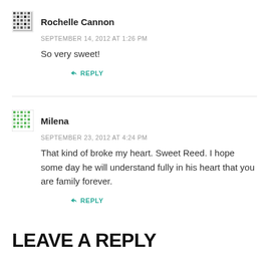Rochelle Cannon
SEPTEMBER 14, 2012 AT 1:26 PM
So very sweet!
↳ REPLY
Milena
SEPTEMBER 23, 2012 AT 4:24 PM
That kind of broke my heart. Sweet Reed. I hope some day he will understand fully in his heart that you are family forever.
↳ REPLY
LEAVE A REPLY